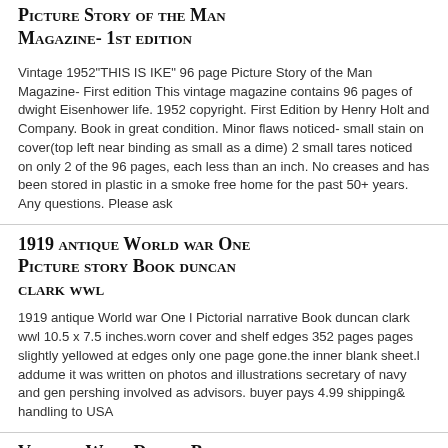Picture Story of the Man Magazine- 1st edition
Vintage 1952"THIS IS IKE" 96 page Picture Story of the Man Magazine- First edition This vintage magazine contains 96 pages of dwight Eisenhower life. 1952 copyright. First Edition by Henry Holt and Company. Book in great condition. Minor flaws noticed- small stain on cover(top left near binding as small as a dime) 2 small tares noticed on only 2 of the 96 pages, each less than an inch. No creases and has been stored in plastic in a smoke free home for the past 50+ years. Any questions. Please ask
1919 antique World war One Picture story Book duncan clark wwl
1919 antique World war One l Pictorial narrative Book duncan clark wwl 10.5 x 7.5 inches.worn cover and shelf edges 352 pages pages slightly yellowed at edges only one page gone.the inner blank sheet.l addume it was written on photos and illustrations secretary of navy and gen pershing involved as advisors. buyer pays 4.99 shipping& handling to USA
Vintage Walt Disney Babes in Toyland Movie Golden Picture Story Book, Big Comic!
This auction is for a Golden Picture Story Book depicting Walt Disney's Babes in Toyland. The book is dated 1961. It is actually an oversized comic book with the story of the movie. The book is in used condition.